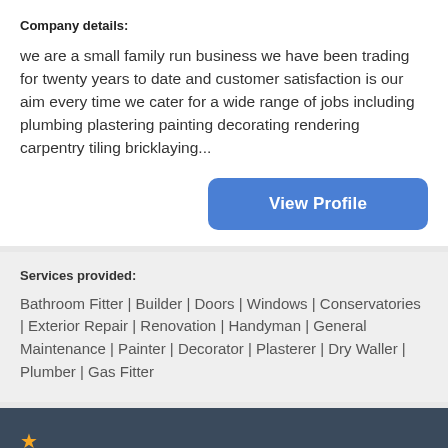Company details:
we are a small family run business we have been trading for twenty years to date and customer satisfaction is our aim every time we cater for a wide range of jobs including plumbing plastering painting decorating rendering carpentry tiling bricklaying...
Services provided:
Bathroom Fitter | Builder | Doors | Windows | Conservatories | Exterior Repair | Renovation | Handyman | General Maintenance | Painter | Decorator | Plasterer | Dry Waller | Plumber | Gas Fitter